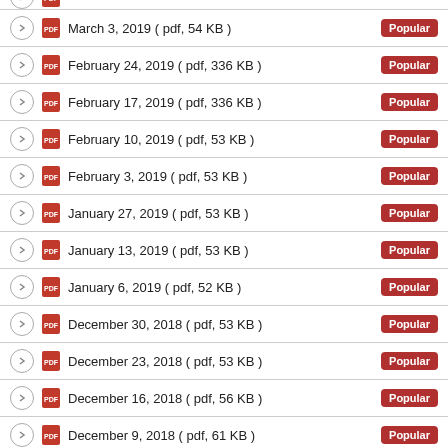March 3, 2019 ( pdf, 54 KB ) Popular
February 24, 2019 ( pdf, 336 KB ) Popular
February 17, 2019 ( pdf, 336 KB ) Popular
February 10, 2019 ( pdf, 53 KB ) Popular
February 3, 2019 ( pdf, 53 KB ) Popular
January 27, 2019 ( pdf, 53 KB ) Popular
January 13, 2019 ( pdf, 53 KB ) Popular
January 6, 2019 ( pdf, 52 KB ) Popular
December 30, 2018 ( pdf, 53 KB ) Popular
December 23, 2018 ( pdf, 53 KB ) Popular
December 16, 2018 ( pdf, 56 KB ) Popular
December 9, 2018 ( pdf, 61 KB ) Popular